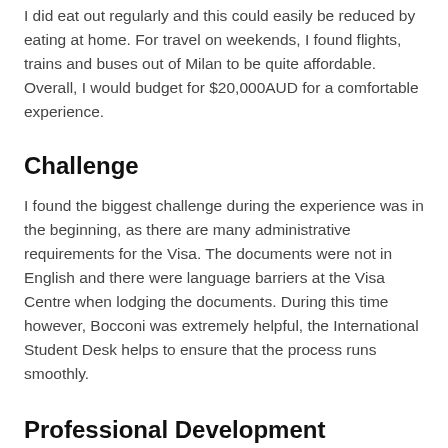I did eat out regularly and this could easily be reduced by eating at home. For travel on weekends, I found flights, trains and buses out of Milan to be quite affordable. Overall, I would budget for $20,000AUD for a comfortable experience.
Challenge
I found the biggest challenge during the experience was in the beginning, as there are many administrative requirements for the Visa. The documents were not in English and there were language barriers at the Visa Centre when lodging the documents. During this time however, Bocconi was extremely helpful, the International Student Desk helps to ensure that the process runs smoothly.
Professional Development